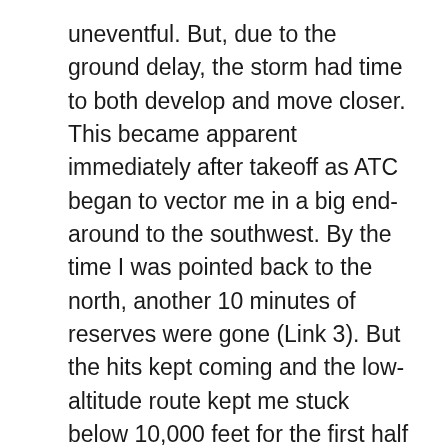uneventful. But, due to the ground delay, the storm had time to both develop and move closer. This became apparent immediately after takeoff as ATC began to vector me in a big end-around to the southwest. By the time I was pointed back to the north, another 10 minutes of reserves were gone (Link 3). But the hits kept coming and the low-altitude route kept me stuck below 10,000 feet for the first half of the 400-mile trip. which cut my fuel efficiency 20%, chewing up 10 more minutes of reserves (Link 4).
However, the final link was one that was in